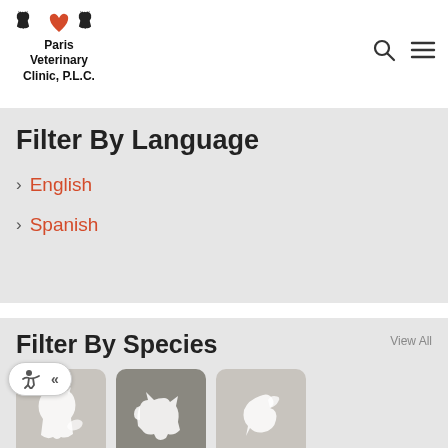Paris Veterinary Clinic, P.L.C.
Filter By Language
English
Spanish
Filter By Species
View All
[Figure (illustration): Species filter cards: Cats (cat icon), Dogs (dog icon, active/selected), Birds (bird icon)]
Cats
Dogs
Birds